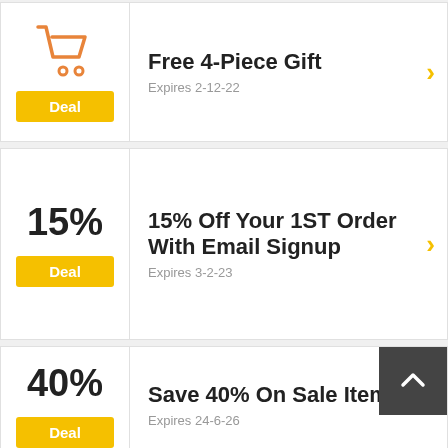[Figure (infographic): Deal card 1: Shopping cart icon with orange outline, Deal button (yellow), title 'Free 4-Piece Gift', expires 2-12-22, yellow chevron arrow]
[Figure (infographic): Deal card 2: 15% text, Deal button (yellow), title '15% Off Your 1ST Order With Email Signup', expires 3-2-23, yellow chevron arrow]
[Figure (infographic): Deal card 3: 40% text, Deal button (yellow), title 'Save 40% On Sale Items', expires 24-6-26, yellow chevron arrow, dark back-to-top button]